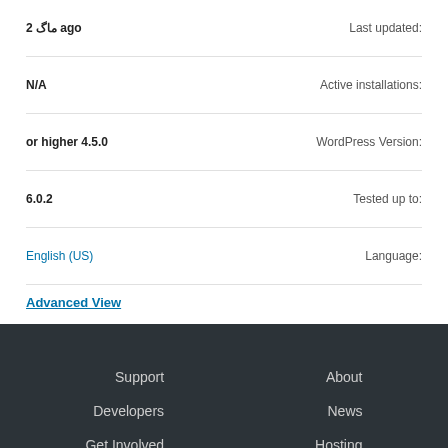| Value | Label |
| --- | --- |
| 2 ماگ ago | Last updated: |
| N/A | Active installations: |
| or higher 4.5.0 | WordPress Version: |
| 6.0.2 | Tested up to: |
| English (US) | Language: |
Advanced View
Support
Developers
Get Involved
Learn
About
News
Hosting
Donate